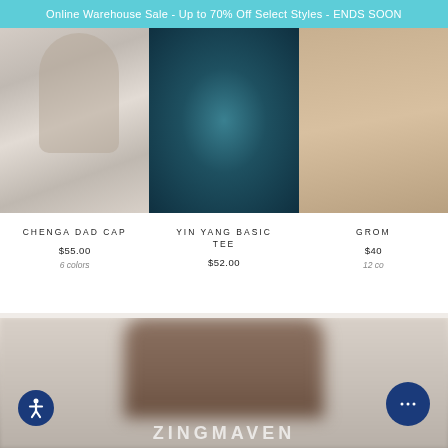Online Warehouse Sale - Up to 70% Off Select Styles - ENDS SOON
[Figure (photo): Man wearing white shirt and yellow cap, product photo for Chenga Dad Cap]
CHENGA DAD CAP
$55.00
6 colors
[Figure (photo): Aerial view of person lying on surfboard on water wearing yin yang tee, product photo for Yin Yang Basic Tee]
YIN YANG BASIC TEE
$52.00
[Figure (photo): Child or young person on rocky beach, partially cropped, product photo for Grom item]
GROM
$40
12 co
[Figure (photo): Blurred lower body / legs photo with ZINGMAVEN brand text overlay at bottom, accessibility and chat buttons visible]